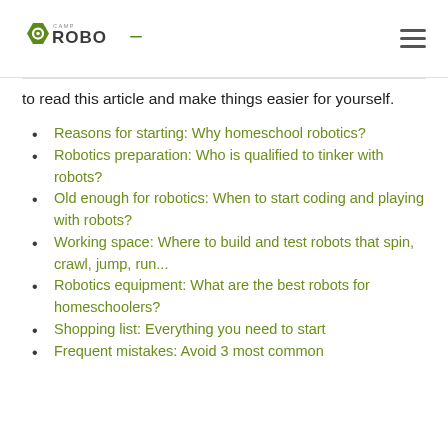Camp Robo logo and navigation menu
to read this article and make things easier for yourself.
Reasons for starting: Why homeschool robotics?
Robotics preparation: Who is qualified to tinker with robots?
Old enough for robotics: When to start coding and playing with robots?
Working space: Where to build and test robots that spin, crawl, jump, run...
Robotics equipment: What are the best robots for homeschoolers?
Shopping list: Everything you need to start
Frequent mistakes: Avoid 3 most common